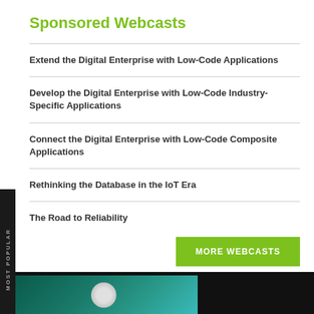Sponsored Webcasts
Extend the Digital Enterprise with Low-Code Applications
Develop the Digital Enterprise with Low-Code Industry-Specific Applications
Connect the Digital Enterprise with Low-Code Composite Applications
Rethinking the Database in the IoT Era
The Road to Reliability
MORE WEBCASTS
[Figure (photo): Dark footer bar with a green-teal image thumbnail at the bottom of the page]